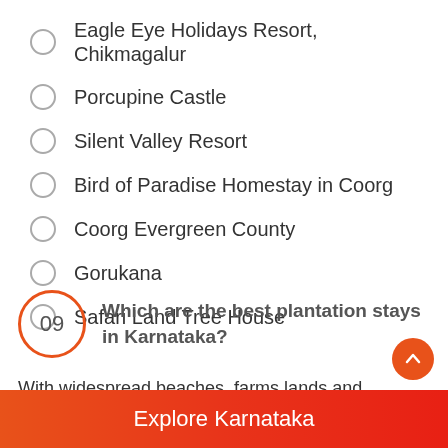Eagle Eye Holidays Resort, Chikmagalur
Porcupine Castle
Silent Valley Resort
Bird of Paradise Homestay in Coorg
Coorg Evergreen County
Gorukana
Safari Land Tree House
09 Which are the best plantation stays in Karnataka?
With widespread beaches, farms lands and immense greenery, South India is blessed with huge farmlands
Explore Karnataka